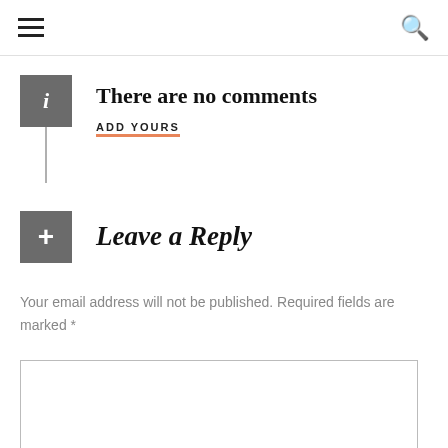≡  🔍
There are no comments
ADD YOURS
Leave a Reply
Your email address will not be published. Required fields are marked *